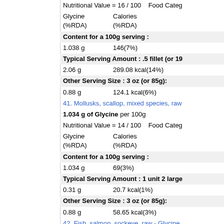Nutritional Value = 16 / 100   Food Category
Glycine (%RDA)   Calories (%RDA)
Content for a 100g serving :
1.038 g   146(7%)
Typical Serving Amount : .5 fillet (or 19...
2.06 g   289.08 kcal(14%)
Other Serving Size : 3 oz (or 85g):
0.88 g   124.1 kcal(6%)
41. Mollusks, scallop, mixed species, raw...
1.034 g of Glycine per 100g
Nutritional Value = 14 / 100   Food Category
Glycine (%RDA)   Calories (%RDA)
Content for a 100g serving :
1.034 g   69(3%)
Typical Serving Amount : 1 unit 2 large...
0.31 g   20.7 kcal(1%)
Other Serving Size : 3 oz (or 85g):
0.88 g   58.65 kcal(3%)
42. Fish, salmon, sockeye, raw - Glycine
1.025 g of Glycine per 100g
Nutritional Value = 15 / 100   Food Category
Glycine (%RDA)   Calories (%RDA)
Content for a 100g serving :